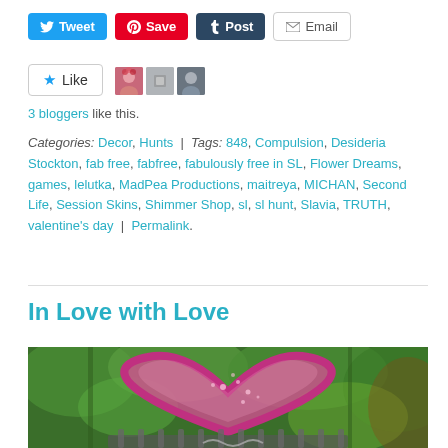[Figure (infographic): Social sharing buttons: Tweet (blue), Save (red/Pinterest), Post (dark blue/Tumblr), Email (gray outlined)]
[Figure (infographic): Like button with star icon and 3 blogger avatar thumbnails]
3 bloggers like this.
Categories: Decor, Hunts | Tags: 848, Compulsion, Desideria Stockton, fab free, fabfree, fabulously free in SL, Flower Dreams, games, lelutka, MadPea Productions, maitreya, MICHAN, Second Life, Session Skins, Shimmer Shop, sl, sl hunt, Slavia, TRUTH, valentine's day | Permalink.
In Love with Love
[Figure (photo): Photo of a large pink heart-shaped sculpture/decoration surrounded by green foliage]